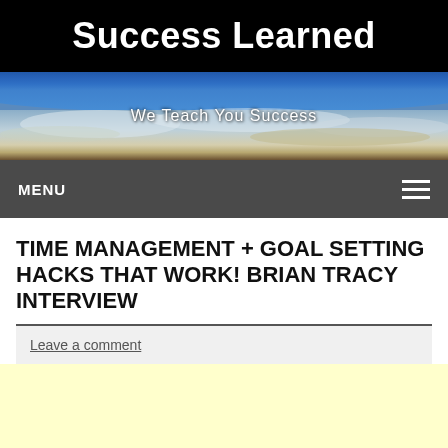Success Learned
[Figure (photo): Earth from space banner image with 'We Teach You Success' subtitle text overlay]
MENU
TIME MANAGEMENT + GOAL SETTING HACKS THAT WORK! BRIAN TRACY INTERVIEW
Leave a comment
[Figure (screenshot): Yellow advertisement or content area with Privacy & Cookies Policy bar at bottom]